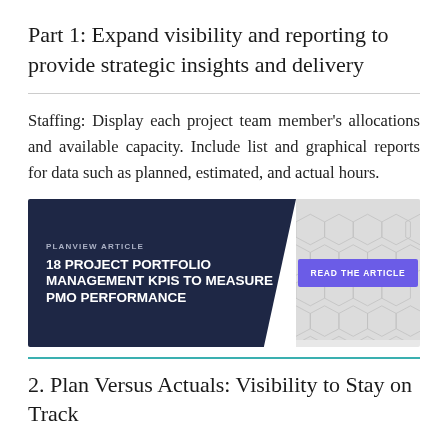Part 1: Expand visibility and reporting to provide strategic insights and delivery
Staffing: Display each project team member's allocations and available capacity. Include list and graphical reports for data such as planned, estimated, and actual hours.
[Figure (infographic): Planview Article banner with dark navy left section and geometric patterned right section. Left section reads 'PLANVIEW ARTICLE' in small caps and '18 PROJECT PORTFOLIO MANAGEMENT KPIs TO MEASURE PMO PERFORMANCE' in bold white text. Right section has a purple 'READ THE ARTICLE' button.]
2. Plan Versus Actuals: Visibility to Stay on Track